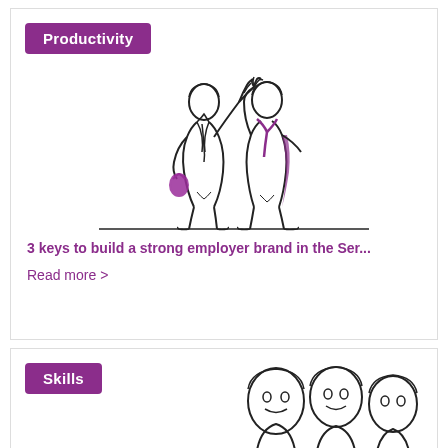[Figure (illustration): Line drawing illustration of two people doing a high-five handshake, with a purple tag label 'Productivity' in the top left corner]
3 keys to build a strong employer brand in the Ser...
Read more >
[Figure (illustration): Line drawing illustration of three people's heads/faces in a group, with a purple tag label 'Skills' in the top left corner]